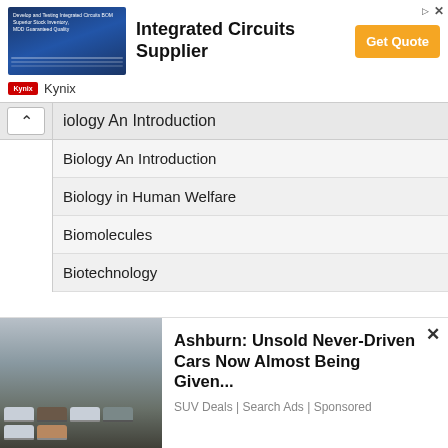[Figure (screenshot): Integrated Circuits Supplier ad banner with chip image, Get Quote button, and Kynix branding]
iology An Introduction
Biology An Introduction
Biology in Human Welfare
Biomolecules
Biotechnology
We use cookies on our website to give you the most relevant experience by remembering your preferences and repeat visits. By clicking “Accept”, you consent to the use of ALL the cookies.
Do not sell my personal information.
[Figure (screenshot): Bottom advertisement: Ashburn: Unsold Never-Driven Cars Now Almost Being Given... SUV Deals | Search Ads | Sponsored, with image of car lot]